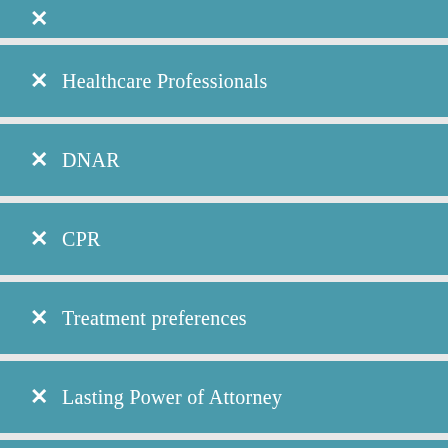✕ Healthcare Professionals
✕ DNAR
✕ CPR
✕ Treatment preferences
✕ Lasting Power of Attorney
✕ Capacity
✕ Carers